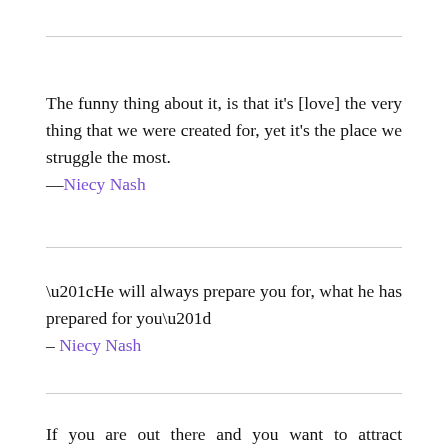The funny thing about it, is that it's [love] the very thing that we were created for, yet it's the place we struggle the most.
—Niecy Nash
“He will always prepare you for, what he has prepared for you”
– Niecy Nash
If you are out there and you want to attract somebody, fall